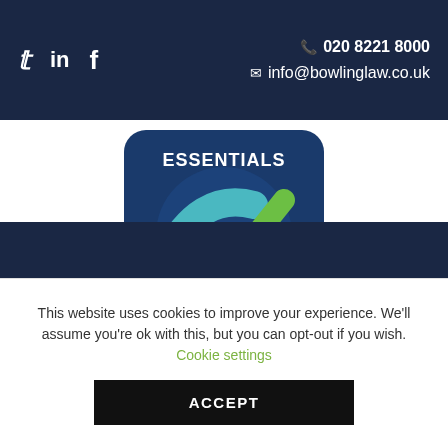Twitter LinkedIn Facebook | 020 8221 8000 | info@bowlinglaw.co.uk
[Figure (logo): Essentials Certified badge — dark blue rounded square with a teal/green checkmark and text ESSENTIALS at top and CERTIFIED at bottom]
Dark navy footer bar
This website uses cookies to improve your experience. We'll assume you're ok with this, but you can opt-out if you wish. Cookie settings
ACCEPT